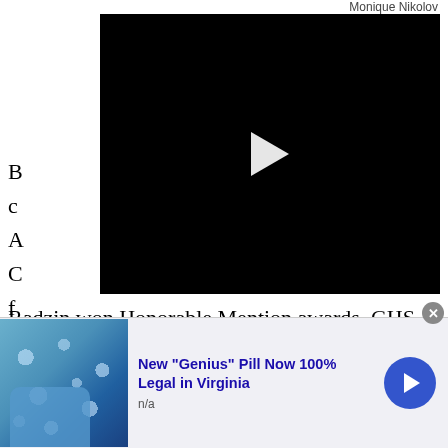Monique Nikolov
[Figure (screenshot): Black video player with white play button triangle in center]
Radzin won Honorable Mention awards. GHS junior Emilia Thornton and freshman Sophia Crasto won Outstanding Delegate awards.
[Figure (infographic): Advertisement: New "Genius" Pill Now 100% Legal in Virginia. n/a. Image of blue pill/bubble material held by blue glove. Blue arrow button on right. Close X button.]